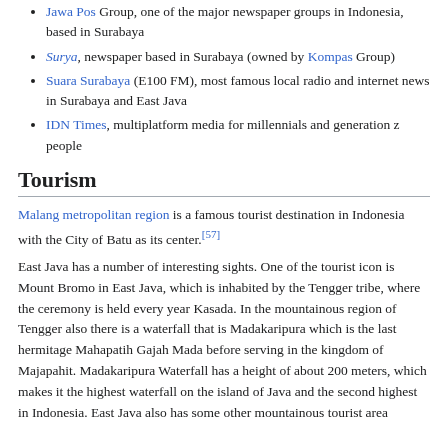Jawa Pos Group, one of the major newspaper groups in Indonesia, based in Surabaya
Surya, newspaper based in Surabaya (owned by Kompas Group)
Suara Surabaya (E100 FM), most famous local radio and internet news in Surabaya and East Java
IDN Times, multiplatform media for millennials and generation z people
Tourism
Malang metropolitan region is a famous tourist destination in Indonesia with the City of Batu as its center.[57]
East Java has a number of interesting sights. One of the tourist icon is Mount Bromo in East Java, which is inhabited by the Tengger tribe, where the ceremony is held every year Kasada. In the mountainous region of Tengger also there is a waterfall that is Madakaripura which is the last hermitage Mahapatih Gajah Mada before serving in the kingdom of Majapahit. Madakaripura Waterfall has a height of about 200 meters, which makes it the highest waterfall on the island of Java and the second highest in Indonesia. East Java also has some other mountainous tourist area